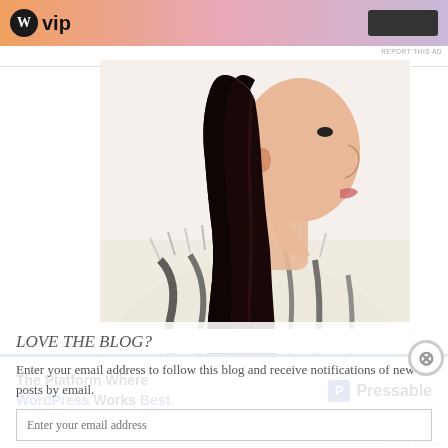[Figure (illustration): WordPress VIP advertisement banner at top with gradient orange-pink-purple background, WordPress circular logo and VIP text, dark button on right]
[Figure (illustration): Fashion illustration of a woman in profile view with long black hair wearing a zebra-striped fur coat with orange accents]
LOVE THE BLOG?
Enter your email address to follow this blog and receive notifications of new posts by email.
Enter your email address
[Figure (other): Pink follow button]
Advertisements
[Figure (other): Pressable advertisement: The Platform Where WordPress Works Best]